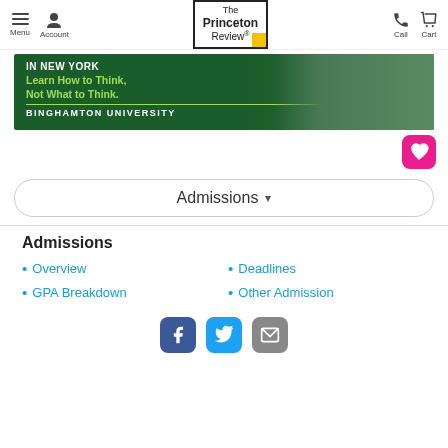Menu | Account | The Princeton Review® | Call | Cart
[Figure (photo): Binghamton University advertisement banner: 'IN NEW YORK - Learn How to Think, Not What to Think. BINGHAMTON UNIVERSITY']
Admissions ▾
Admissions
Overview
Deadlines
GPA Breakdown
Other Admission
Facebook | Twitter | Email